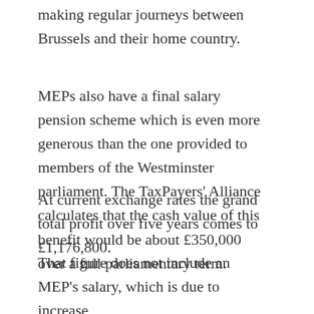making regular journeys between Brussels and their home country.
MEPs also have a final salary pension scheme which is even more generous than the one provided to members of the Westminster parliament. The TaxPayers' Alliance calculates that the cash value of this benefit would be about £350,000 over a full parliamentary term.
At current exchange rates the grand total profit over five years comes to £1,176,800.
That figure does not include an MEP's salary, which is due to increase